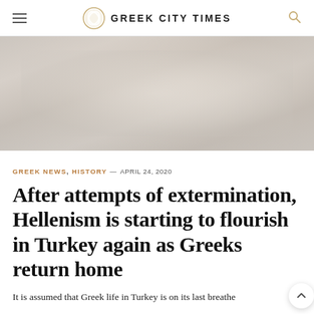GREEK CITY TIMES
[Figure (photo): Blurred/faded hero image with muted grey-beige tones, no clear subject visible]
GREEK NEWS, HISTORY — APRIL 24, 2020
After attempts of extermination, Hellenism is starting to flourish in Turkey again as Greeks return home
It is assumed that Greek life in Turkey is on its last breathe